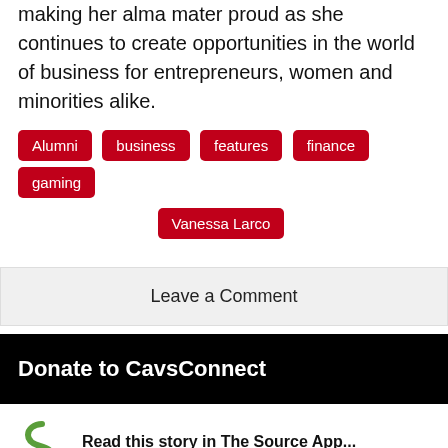making her alma mater proud as she continues to create opportunities in the world of business for entrepreneurs, women and minorities alike.
Alumni
business
features
finance
gaming
Vanessa Larco
Leave a Comment
Donate to CavsConnect
Read this story in The Source App...
Open App
Continue in browser